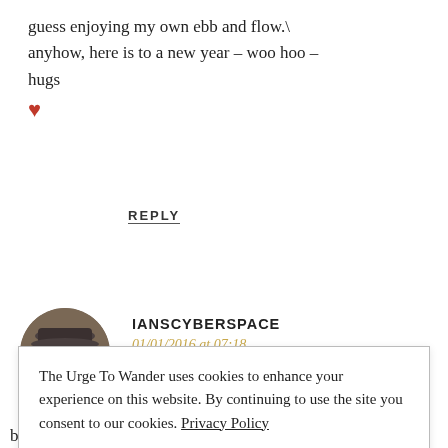guess enjoying my own ebb and flow.\ anyhow, here is to a new year – woo hoo – hugs ♥
REPLY
[Figure (photo): Circular avatar photo of a man wearing a hat, facing the camera]
IANSCYBERSPACE
01/01/2016 at 07:18
There really are beautiful places in Myanmar. Yangon is
The Urge To Wander uses cookies to enhance your experience on this website. By continuing to use the site you consent to our cookies. Privacy Policy
OK
bold to account for those years. Unfortunately, politics